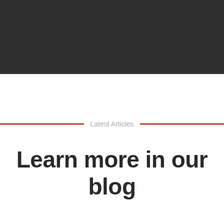[Figure (other): Dark gray/charcoal header banner covering the top portion of the page]
Latest Articles
Learn more in our blog